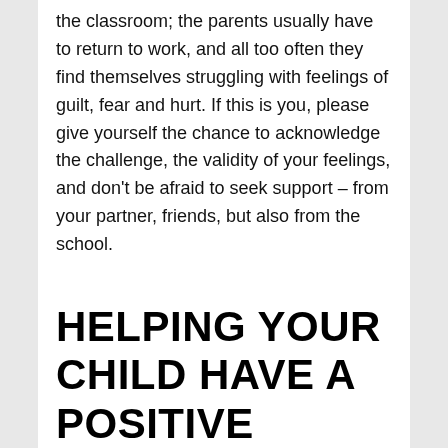the classroom; the parents usually have to return to work, and all too often they find themselves struggling with feelings of guilt, fear and hurt. If this is you, please give yourself the chance to acknowledge the challenge, the validity of your feelings, and don't be afraid to seek support – from your partner, friends, but also from the school.
HELPING YOUR CHILD HAVE A POSITIVE EXPERIENCE